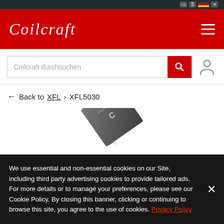Coilcraft
[Figure (screenshot): Search bar with placeholder text 'Coilcraft durchsuchen' and a red search button with magnifying glass icon, plus a user account icon]
← Back to XFL > XFL5030
[Figure (photo): Dark square SMD inductor chip component (XFL5030) angled view showing top surface with white marking]
We use essential and non-essential cookies on our Site, including third party advertising cookies to provide tailored ads. For more details or to manage your preferences, please see our Cookie Policy. By closing this banner, clicking or continuing to browse this site, you agree to the use of cookies. Privacy Policy